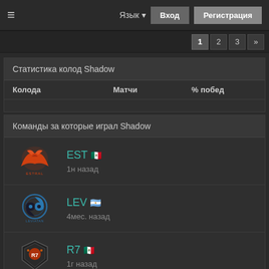≡  Язык ▾  Вход  Регистрация
1  2  3  »
Статистика колод Shadow
| Колода | Матчи | % побед |
| --- | --- | --- |
Команды за которые играл Shadow
EST 🇲🇽  1н назад
LEV 🇦🇷  4мес. назад
R7 🇲🇽  1г назад